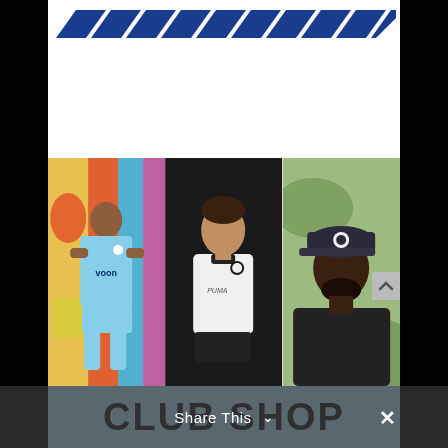[Figure (logo): Football club logo with blue diagonal stripe pattern at top of page]
[Figure (photo): Three photos side by side: left - football player in light blue kit with arms crossed in front of graffiti wall; center - young player in white Puma kit on dark background; right - Black man wearing dark club cap with club badge]
CLUB SHOP
Share This